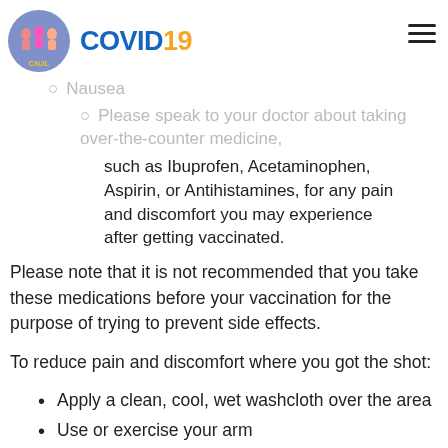COVID19
Fever
Nausea
Please speak to your doctor about taking over-the-counter medicine, such as Ibuprofen, Acetaminophen, Aspirin, or Antihistamines, for any pain and discomfort you may experience after getting vaccinated.
Please note that it is not recommended that you take these medications before your vaccination for the purpose of trying to prevent side effects.
To reduce pain and discomfort where you got the shot:
Apply a clean, cool, wet washcloth over the area
Use or exercise your arm
To reduce discomfort from fever: